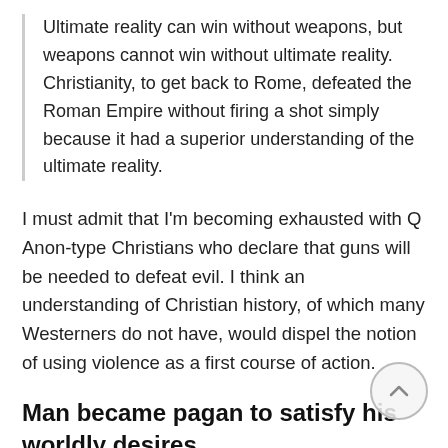Ultimate reality can win without weapons, but weapons cannot win without ultimate reality. Christianity, to get back to Rome, defeated the Roman Empire without firing a shot simply because it had a superior understanding of the ultimate reality.
I must admit that I'm becoming exhausted with Q Anon-type Christians who declare that guns will be needed to defeat evil. I think an understanding of Christian history, of which many Westerners do not have, would dispel the notion of using violence as a first course of action.
Man became pagan to satisfy his worldly desires
India is perhaps the prime example of a culture which could not maintain its hold on the logos of its origins. After viewing monotheism from afar, India descended into the jungles of polytheism never to emerge.